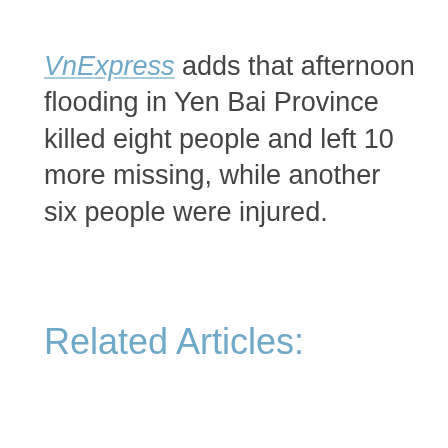VnExpress adds that afternoon flooding in Yen Bai Province killed eight people and left 10 more missing, while another six people were injured.
Related Articles: